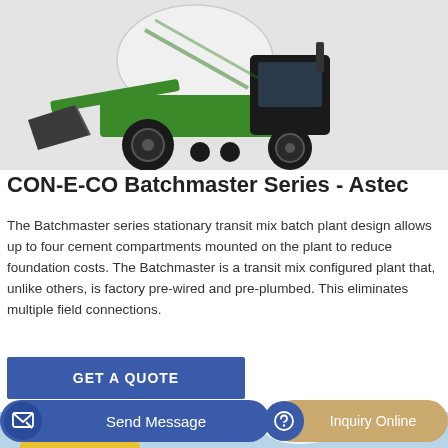[Figure (photo): Green concrete transit mixer / batch plant machine with bucket loader attachment, on gray background]
CON-E-CO Batchmaster Series - Astec
The Batchmaster series stationary transit mix batch plant design allows up to four cement compartments mounted on the plant to reduce foundation costs. The Batchmaster is a transit mix configured plant that, unlike others, is factory pre-wired and pre-plumbed. This eliminates multiple field connections.
[Figure (photo): Partial bottom image of yellow industrial equipment or batch plant, partially visible]
GET A QUOTE
Send Message
Inquiry Online